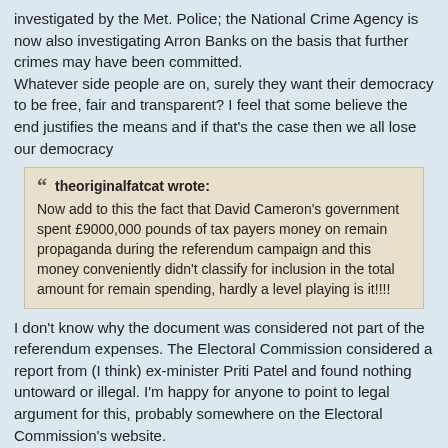investigated by the Met. Police; the National Crime Agency is now also investigating Arron Banks on the basis that further crimes may have been committed.
Whatever side people are on, surely they want their democracy to be free, fair and transparent? I feel that some believe the end justifies the means and if that's the case then we all lose our democracy
theoriginalfatcat wrote: Now add to this the fact that David Cameron's government spent £9000,000 pounds of tax payers money on remain propaganda during the referendum campaign and this money conveniently didn't classify for inclusion in the total amount for remain spending, hardly a level playing is it!!!!
I don't know why the document was considered not part of the referendum expenses. The Electoral Commission considered a report from (I think) ex-minister Priti Patel and found nothing untoward or illegal. I'm happy for anyone to point to legal argument for this, probably somewhere on the Electoral Commission's website.
theoriginalfatcat wrote: Finally, I have a question for you. If David Cameron (I can't stand him BTW) had pre 2015 general election stated that IF his government were to be voted in he would pull the UK of the E.U. - and that because he is elected Conservative government told UK out of E.U.